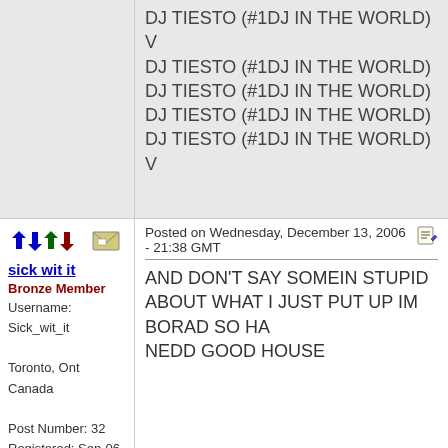DJ TIESTO (#1DJ IN THE WORLD)
V
DJ TIESTO (#1DJ IN THE WORLD)
DJ TIESTO (#1DJ IN THE WORLD)
DJ TIESTO (#1DJ IN THE WORLD)
DJ TIESTO (#1DJ IN THE WORLD) V
[Figure (other): Forum post icons row with navigation arrows and envelope icon]
Posted on Wednesday, December 13, 2006 - 21:38 GMT
sick wit it
Bronze Member
Username: Sick_wit_it

Toronto, Ont Canada

Post Number: 32
Registered: Sep-06
AND DON'T SAY SOMEIN STUPID ABOUT WHAT I JUST PUT UP IM BORAD SO HA
NEDD GOOD HOUSE